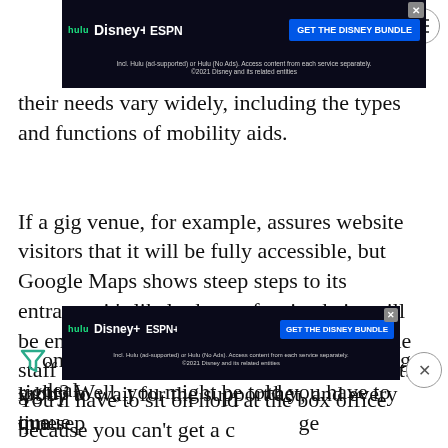[Figure (screenshot): Disney Bundle advertisement banner with Hulu, Disney+, ESPN+ logos and 'GET THE DISNEY BUNDLE' CTA button]
their needs vary widely, including the types and functions of mobility aids.
If a gig venue, for example, assures website visitors that it will be fully accessible, but Google Maps shows steep steps to its entrance, it's likely those of us in chairs will be entering through the backdoor, maybe the staff entrance and sometimes the service lift. You'll have to sit on hold at the box office because you can't get a confirmed wheelchair ticket online. No big deal, right? Well, you might be told you have to queue in a sep[arate entrance or] ge group o[f people] the lobby to wait for the support act, and every time
[Figure (screenshot): Disney Bundle advertisement banner (second instance) with Hulu, Disney+, ESPN+ logos and 'GET THE DISNEY BUNDLE' CTA button]